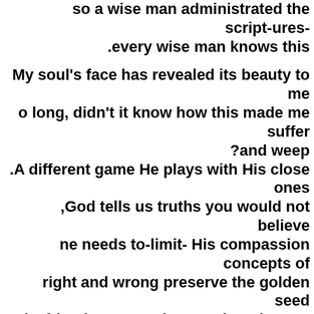so a wise man administrated the script-ures- .every wise man knows this
My soul's face has revealed its beauty to me o long, didn't it know how this made me suffer ?and weep .A different game He plays with His close ones ,God tells us truths you would not believe ne needs to-limit- His compassion concepts of right and wrong preserve the golden seed od's friends comes along and tends your body .like a divine bride
a surveyor to find the-limit-s of its compassion .and being a divine frustration whenever He acts like that for the Infinite has .no walls ?Why not tease Him about this Why not accept the freedom of what it means for our Lord to see us